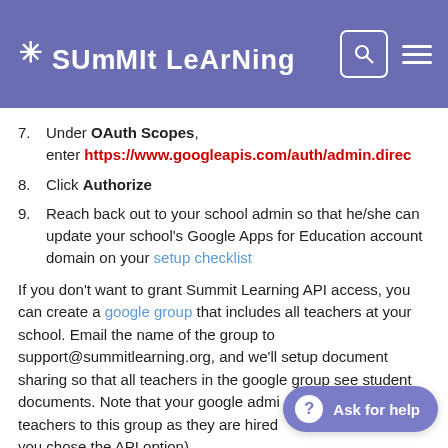Summit Learning
7. Under OAuth Scopes, enter https://www.googleapis.com/auth/admin.dire...
8. Click Authorize
9. Reach back out to your school admin so that he/she can update your school's Google Apps for Education account domain on your setup checklist
If you don't want to grant Summit Learning API access, you can create a google group that includes all teachers at your school. Email the name of the group to support@summitlearning.org, and we'll setup document sharing so that all teachers in the google group see student documents. Note that your google admin... teachers to this group as they are hired... you chose the API option).